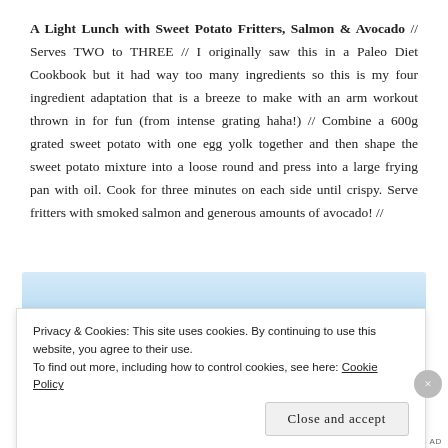A Light Lunch with Sweet Potato Fritters, Salmon & Avocado // Serves TWO to THREE // I originally saw this in a Paleo Diet Cookbook but it had way too many ingredients so this is my four ingredient adaptation that is a breeze to make with an arm workout thrown in for fun (from intense grating haha!) // Combine a 600g grated sweet potato with one egg yolk together and then shape the sweet potato mixture into a loose round and press into a large frying pan with oil. Cook for three minutes on each side until crispy. Serve fritters with smoked salmon and generous amounts of avocado! //
[Figure (other): Light blue gradient rectangular background element]
Privacy & Cookies: This site uses cookies. By continuing to use this website, you agree to their use.
To find out more, including how to control cookies, see here: Cookie Policy
Close and accept